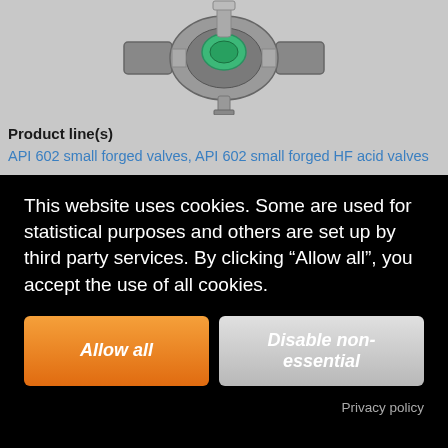[Figure (illustration): Cross-section illustration of a forged valve with green internal components, metallic body, centered on gray background]
Product line(s)
API 602 small forged valves, API 602 small forged HF acid valves
This website uses cookies. Some are used for statistical purposes and others are set up by third party services. By clicking “Allow all”, you accept the use of all cookies.
Allow all
Disable non-essential
Privacy policy